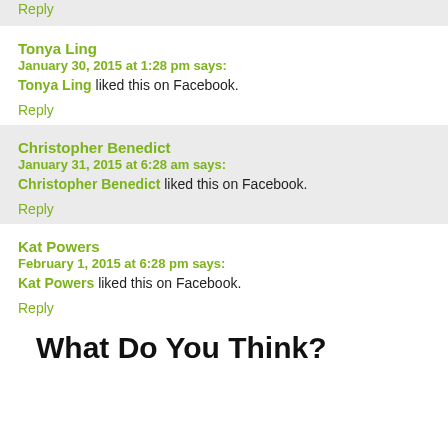Reply
Tonya Ling
January 30, 2015 at 1:28 pm says:
Tonya Ling liked this on Facebook.
Reply
Christopher Benedict
January 31, 2015 at 6:28 am says:
Christopher Benedict liked this on Facebook.
Reply
Kat Powers
February 1, 2015 at 6:28 pm says:
Kat Powers liked this on Facebook.
Reply
What Do You Think?